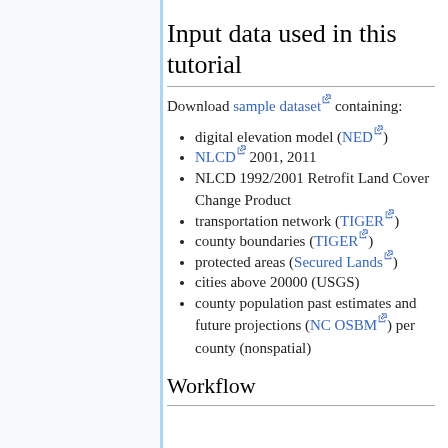Input data used in this tutorial
Download sample dataset containing:
digital elevation model (NED)
NLCD 2001, 2011
NLCD 1992/2001 Retrofit Land Cover Change Product
transportation network (TIGER)
county boundaries (TIGER)
protected areas (Secured Lands)
cities above 20000 (USGS)
county population past estimates and future projections (NC OSBM) per county (nonspatial)
Workflow